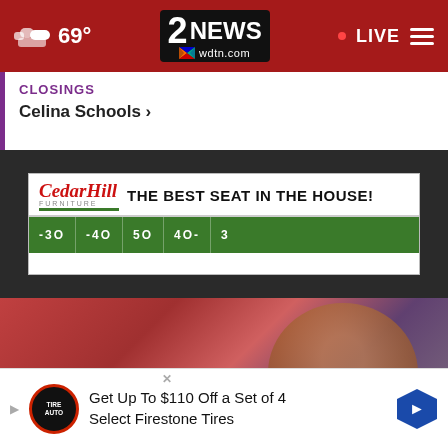69° | 2 NEWS wdtn.com | LIVE
CLOSINGS
Celina Schools >
[Figure (screenshot): Cedar Hill Furniture advertisement banner: 'THE BEST SEAT IN THE HOUSE!' with football field yard markers (-30, -40, 50, 40-, 3)]
[Figure (photo): Photo of a smiling woman with glasses wearing a red outfit, with a red/pink patterned background and teal/blue element in the lower left, and dark curtains to the right]
[Figure (screenshot): Firestone Tires advertisement: 'Get Up To $110 Off a Set of 4 Select Firestone Tires' with Tire Auto logo and blue hexagon icon]